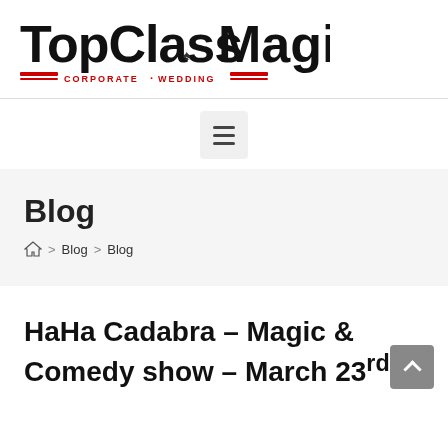[Figure (logo): TopClassMagic logo — large black text 'TopClassMagic' with red decorative double-lines and subtitle 'CORPORATE · WEDDING' in red capitals]
[Figure (other): Hamburger menu button (three horizontal lines) on a light grey rounded rectangle background]
Blog
Home > Blog > Blog
HaHa Cadabra – Magic & Comedy show – March 23rd